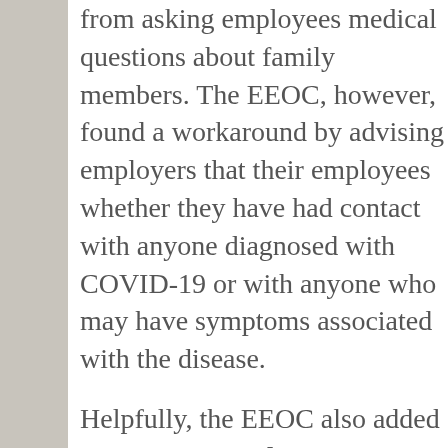from asking employees medical questions about family members. The EEOC, however, found a workaround by advising employers that they may ask their employees whether they have had contact with anyone diagnosed with COVID-19 or with anyone who may have symptoms associated with the disease.
Helpfully, the EEOC also added Question G: "What may an employer do under the ADA if an employee refuses to permit the employer to take his temperature or refuses to answer questions about whether he has COVID-19...